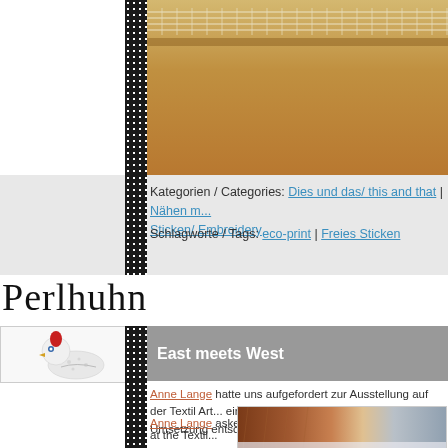[Figure (photo): Partial view of fabric/textile with tan/brown coloring and white stitching at top]
Kategorien / Categories: Dies und das/ this and that | Nähen mit... Sticken/ Embroidery
Schlagworte / Tags: eco-print | Freies Sticken
Perlhuhn
[Figure (illustration): Small avatar/logo illustration of a bird (guinea fowl) with red and white coloring]
East meets West
Anne Lange hatte uns aufgefordert zur Ausstellung auf der Textil Art... einigem Überlegen habe ich mich für diese Umsetzung entschieden.
Anne Lange asked us to create a piece for an exhibition at the Textil...
[Figure (photo): Bottom portion of textile/fabric piece with brown and blue-gray patterned fabric]